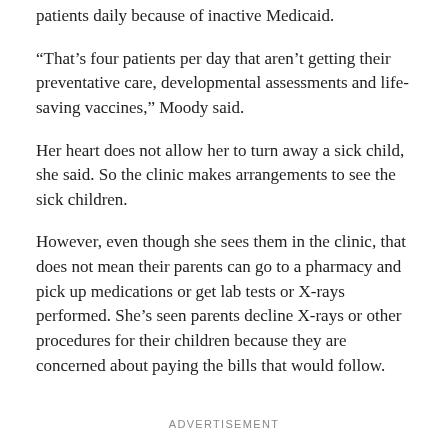patients daily because of inactive Medicaid.
"That's four patients per day that aren't getting their preventative care, developmental assessments and life-saving vaccines," Moody said.
Her heart does not allow her to turn away a sick child, she said. So the clinic makes arrangements to see the sick children.
However, even though she sees them in the clinic, that does not mean their parents can go to a pharmacy and pick up medications or get lab tests or X-rays performed. She's seen parents decline X-rays or other procedures for their children because they are concerned about paying the bills that would follow.
ADVERTISEMENT